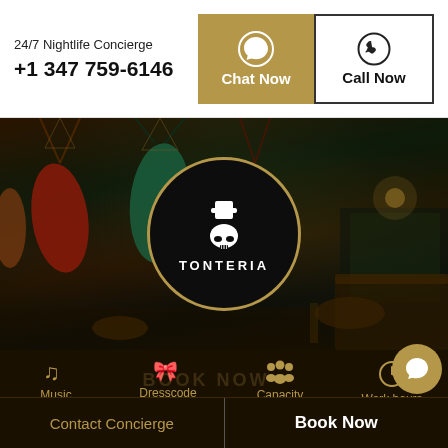24/7 Nightlife Concierge
+1 347 759-6146
Chat Now
Call Now
[Figure (photo): Interior of Tonteria nightclub/bar with colorful hammocks hanging from ceiling, moody dark lighting, stone walls, and a full bar in the background. Tonteria logo (top hat on skull) centered over the image.]
Music
Commercial, House
Dresscode
Smart Casuals
Capacity
200
Work hours
11:00 PM - 03 AM
Contact Concierge
Book Now